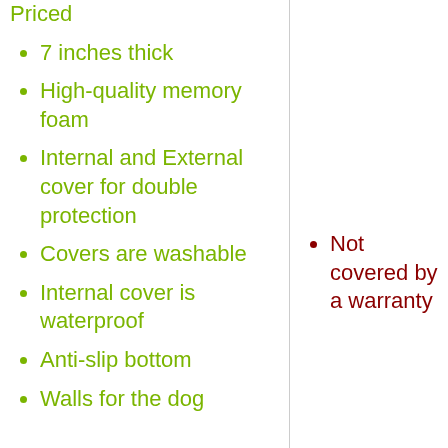Priced
7 inches thick
High-quality memory foam
Internal and External cover for double protection
Covers are washable
Internal cover is waterproof
Anti-slip bottom
Walls for the dog
Not covered by a warranty